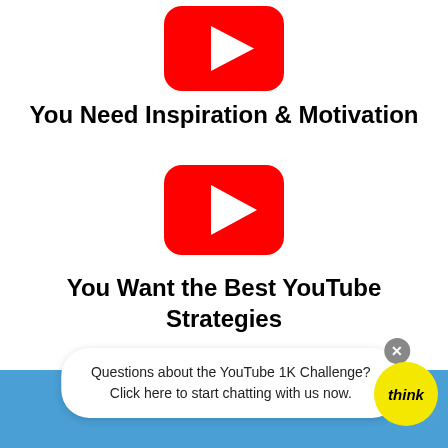[Figure (logo): YouTube play button icon (red rounded rectangle with white triangle)]
You Need Inspiration & Motivation
[Figure (logo): YouTube play button icon (red rounded rectangle with white triangle)]
You Want the Best YouTube Strategies
Questions about the YouTube 1K Challenge? Click here to start chatting with us now.
FREE QUESTIONS